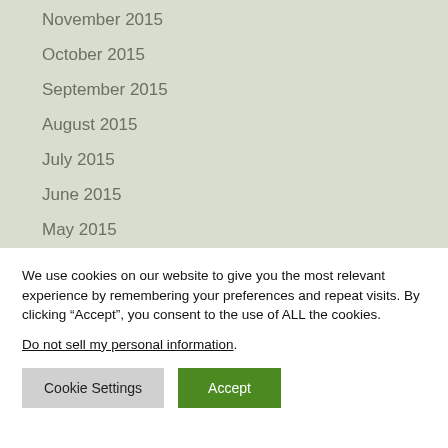November 2015
October 2015
September 2015
August 2015
July 2015
June 2015
May 2015
April 2015
March 2015
We use cookies on our website to give you the most relevant experience by remembering your preferences and repeat visits. By clicking “Accept”, you consent to the use of ALL the cookies.
Do not sell my personal information.